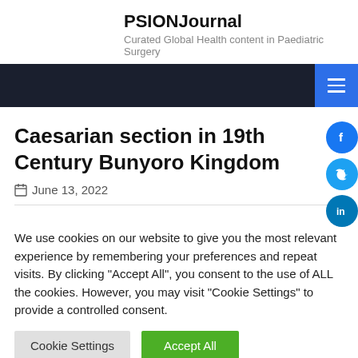PSIONJournal
Curated Global Health content in Paediatric Surgery
Caesarian section in 19th Century Bunyoro Kingdom
June 13, 2022
We use cookies on our website to give you the most relevant experience by remembering your preferences and repeat visits. By clicking "Accept All", you consent to the use of ALL the cookies. However, you may visit "Cookie Settings" to provide a controlled consent.